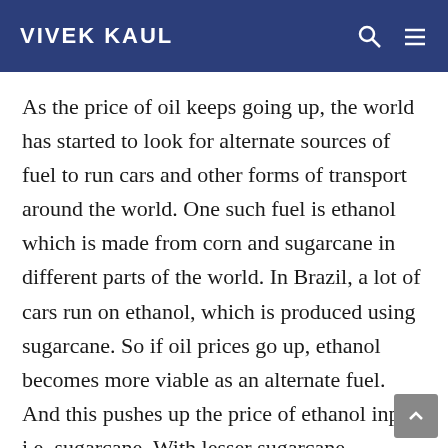VIVEK KAUL
As the price of oil keeps going up, the world has started to look for alternate sources of fuel to run cars and other forms of transport around the world. One such fuel is ethanol which is made from corn and sugarcane in different parts of the world. In Brazil, a lot of cars run on ethanol, which is produced using sugarcane. So if oil prices go up, ethanol becomes more viable as an alternate fuel. And this pushes up the price of ethanol input, i.e. sugarcane. With lesser sugarcane available to produce sugar, the price of sugar also goes up. The United States uses corn to make ethanol. So oil prices going up leads to